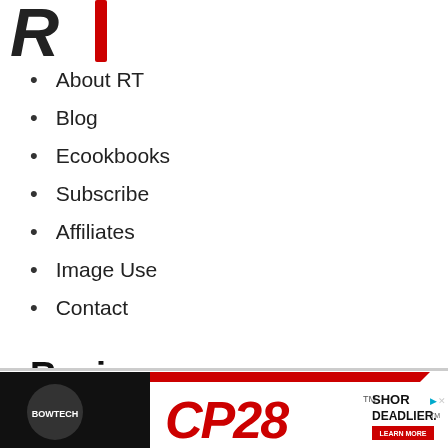[Figure (logo): RT logo with stylized black K and red vertical bar]
About RT
Blog
Ecookbooks
Subscribe
Affiliates
Image Use
Contact
Recipes
[Figure (illustration): Bowtech CP28 advertisement banner with red diagonal stripe, bow equipment image, CP28 logo in red italic text, and SHORTER. DEADLIER. tagline with LEARN MORE button]